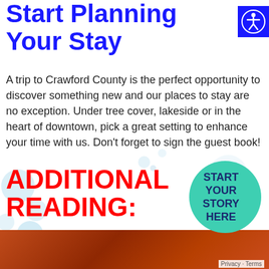Start Planning Your Stay
A trip to Crawford County is the perfect opportunity to discover something new and our places to stay are no exception. Under tree cover, lakeside or in the heart of downtown, pick a great setting to enhance your time with us. Don't forget to sign the guest book!
[Figure (logo): Accessibility icon – white person figure in a circle on blue background]
ADDITIONAL READING:
[Figure (infographic): Teal/green circular badge reading START YOUR STORY HERE with TRIP PLANNER along the right edge]
[Figure (photo): Bottom strip showing a warmly lit restaurant or bar interior with reddish-brown tones]
Privacy · Terms